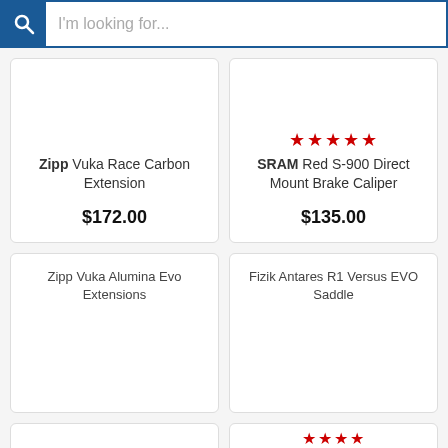I'm looking for...
Zipp Vuka Race Carbon Extension — $172.00
SRAM Red S-900 Direct Mount Brake Caliper — $135.00
Zipp Vuka Alumina Evo Extensions
Fizik Antares R1 Versus EVO Saddle